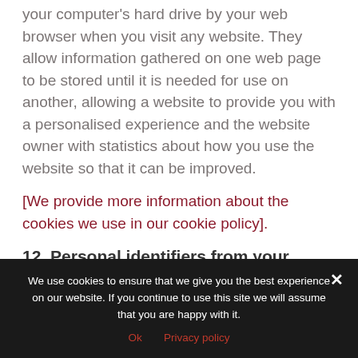your computer's hard drive by your web browser when you visit any website. They allow information gathered on one web page to be stored until it is needed for use on another, allowing a website to provide you with a personalised experience and the website owner with statistics about how you use the website so that it can be improved.
[We provide more information about the cookies we use in our cookie policy].
12. Personal identifiers from your
We use cookies to ensure that we give you the best experience on our website. If you continue to use this site we will assume that you are happy with it.
Ok   Privacy policy